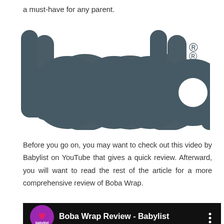a must-have for any parent.
[Figure (logo): Boba brand logo in dark gray/slate color with registered trademark symbol]
Before you go on, you may want to check out this video by Babylist on YouTube that gives a quick review. Afterward, you will want to read the rest of the article for a more comprehensive review of Boba Wrap.
[Figure (screenshot): YouTube video thumbnail bar showing Boba Wrap Review - Babylist with babylist logo circle and three dots menu]